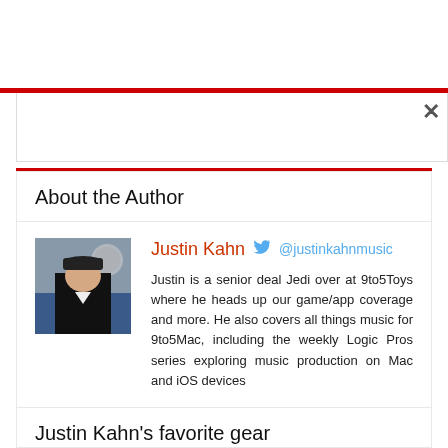About the Author
[Figure (photo): Headshot photo of Justin Kahn wearing a black cap]
Justin Kahn  @justinkahnmusic
Justin is a senior deal Jedi over at 9to5Toys where he heads up our game/app coverage and more. He also covers all things music for 9to5Mac, including the weekly Logic Pros series exploring music production on Mac and iOS devices
Justin Kahn's favorite gear
[Figure (photo): Product image thumbnail]
RYN MEi game controller